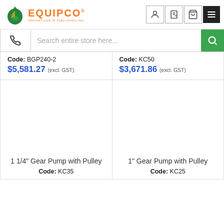[Figure (logo): Equipco logo with green droplet icon and orange text, tagline 'Innovations in Fuel Handling']
[Figure (screenshot): Header icon buttons: user account, clipboard/order, shopping cart, hamburger menu]
[Figure (screenshot): Search bar with phone icon on left and green search button on right, placeholder 'Search entire store here...']
Code: BGP240-2
$5,581.27 (excl. GST)
Code: KC50
$3,671.86 (excl. GST)
1 1/4" Gear Pump with Pulley
Code: KC35
1" Gear Pump with Pulley
Code: KC25